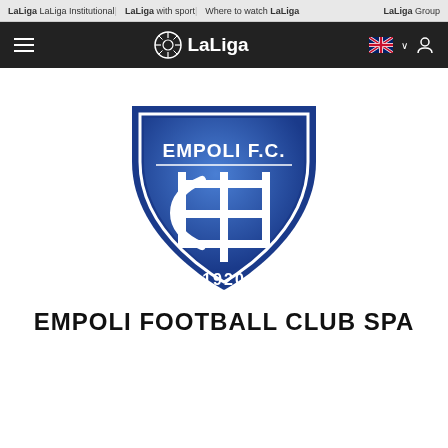LaLiga LaLiga Institutional | LaLiga with sport | Where to watch LaLiga | LaLiga Group
LaLiga navigation bar with hamburger menu, LaLiga logo, UK flag language selector, user icon
[Figure (logo): Empoli F.C. shield logo — blue shield with white border, text EMPOLI F.C. at top, stylized EF monogram in center, year 1920 at bottom]
EMPOLI FOOTBALL CLUB SPA